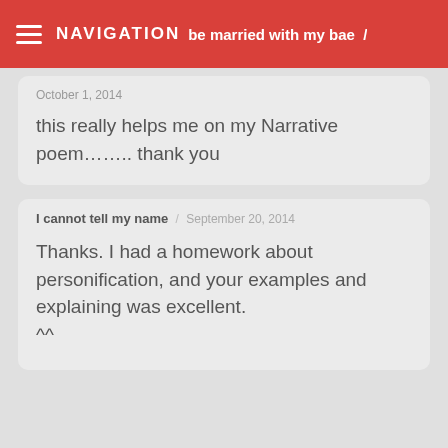NAVIGATION | Can Ache be married with my bae /
October 1, 2014

this really helps me on my Narrative poem…….. thank you
I cannot tell my name / September 20, 2014

Thanks. I had a homework about personification, and your examples and explaining was excellent.
^^